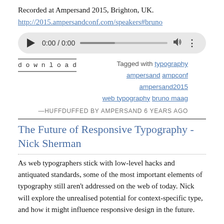Recorded at Ampersand 2015, Brighton, UK.
http://2015.ampersandconf.com/speakers#bruno
[Figure (screenshot): Audio player widget showing play button, time 0:00 / 0:00, progress bar, volume icon, and menu dots on a light grey rounded rectangle background.]
download
Tagged with typography ampersand ampconf ampersand2015 web typography bruno maag
—Huffduffed by ampersand 6 years ago
The Future of Responsive Typography - Nick Sherman
As web typographers stick with low-level hacks and antiquated standards, some of the most important elements of typography still aren't addressed on the web of today. Nick will explore the unrealised potential for context-specific type, and how it might influence responsive design in the future.